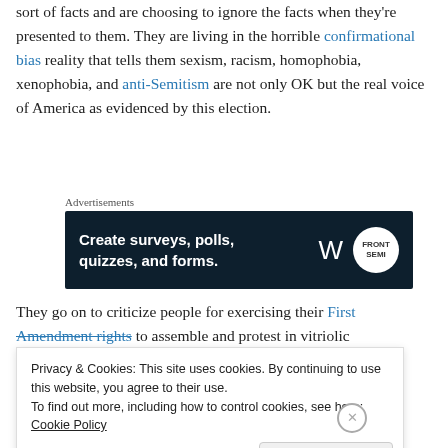sort of facts and are choosing to ignore the facts when they're presented to them. They are living in the horrible confirmational bias reality that tells them sexism, racism, homophobia, xenophobia, and anti-Semitism are not only OK but the real voice of America as evidenced by this election.
[Figure (other): Advertisement banner for WordPress survey/form creation tool. Dark navy background with white text: 'Create surveys, polls, quizzes, and forms.' WordPress logo and a circular badge on the right.]
They go on to criticize people for exercising their First Amendment rights to assemble and protest in vitriolic
Privacy & Cookies: This site uses cookies. By continuing to use this website, you agree to their use. To find out more, including how to control cookies, see here: Cookie Policy
Close and accept